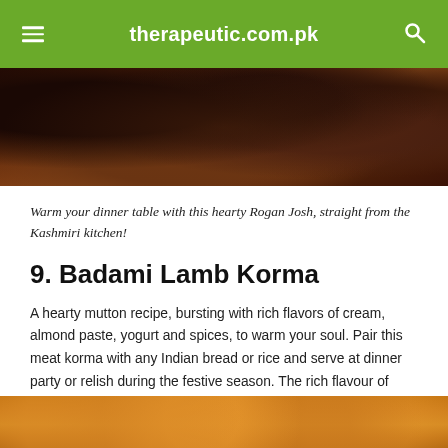therapeutic.com.pk
[Figure (photo): Close-up photo of Rogan Josh curry dish, a dark brown braised meat dish in a bowl, viewed from above]
Warm your dinner table with this hearty Rogan Josh, straight from the Kashmiri kitchen!
9. Badami Lamb Korma
A hearty mutton recipe, bursting with rich flavors of cream, almond paste, yogurt and spices, to warm your soul. Pair this meat korma with any Indian bread or rice and serve at dinner party or relish during the festive season. The rich flavour of almonds would leave an impact on your taste buds for sure.
[Figure (photo): Close-up photo of Badami Lamb Korma, a golden-orange curry with whole spices and onions, partially visible at the bottom of the page]